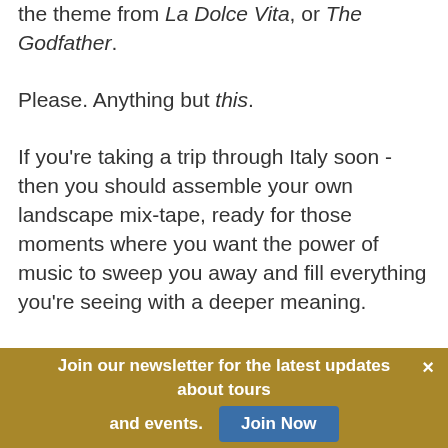the theme from La Dolce Vita, or The Godfather.
Please. Anything but this.
If you're taking a trip through Italy soon - then you should assemble your own landscape mix-tape, ready for those moments where you want the power of music to sweep you away and fill everything you're seeing with a deeper meaning.
What's on that tape, of course, is entirely up to you, because everyone's brain can be tickled differently.
Join our newsletter for the latest updates about tours and events. Join Now ×